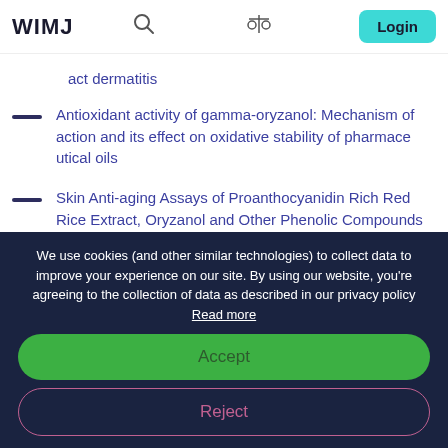WIMJ
act dermatitis
Antioxidant activity of gamma-oryzanol: Mechanism of action and its effect on oxidative stability of pharmaceutical oils
Skin Anti-aging Assays of Proanthocyanidin Rich Red Rice Extract, Oryzanol and Other Phenolic Compounds
Wound-healing Properties of the Oils of Vitis vinifera and Vaccinium macrocarpon
BERRY SEEDS: A SOURCE OF SPECIALTY OILS WITH HIGH CONTENT OF BIOACTIVES AND NUTRITIONAL
We use cookies (and other similar technologies) to collect data to improve your experience on our site. By using our website, you're agreeing to the collection of data as described in our privacy policy Read more
Accept
Reject